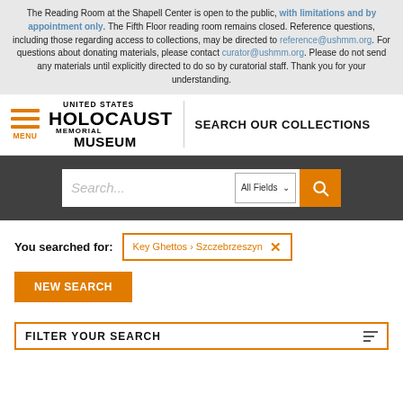The Reading Room at the Shapell Center is open to the public, with limitations and by appointment only. The Fifth Floor reading room remains closed. Reference questions, including those regarding access to collections, may be directed to reference@ushmm.org. For questions about donating materials, please contact curator@ushmm.org. Please do not send any materials until explicitly directed to do so by curatorial staff. Thank you for your understanding.
[Figure (logo): United States Holocaust Memorial Museum logo with hamburger menu icon and SEARCH OUR COLLECTIONS text]
[Figure (screenshot): Search bar with placeholder text 'Search...', All Fields dropdown, and orange search button]
You searched for: Key Ghettos > Szczebrzeszyn
NEW SEARCH
FILTER YOUR SEARCH